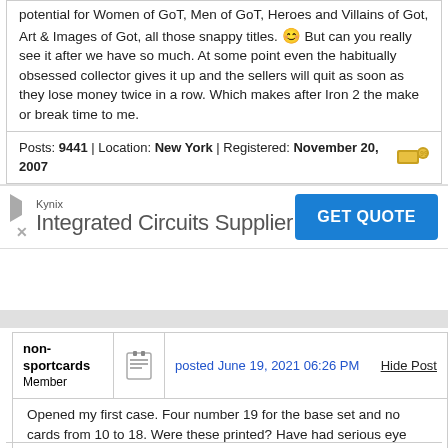potential for Women of GoT, Men of GoT, Heroes and Villains of Got, Art & Images of Got, all those snappy titles. 😊 But can you really see it after we have so much. At some point even the habitually obsessed collector gives it up and the sellers will quit as soon as they lose money twice in a row. Which makes after Iron 2 the make or break time to me.
Posts: 9441 | Location: New York | Registered: November 20, 2007
[Figure (infographic): Advertisement banner for Kynix Integrated Circuits Supplier with GET QUOTE button]
non-sportcards Member
posted June 19, 2021 06:26 PM
Hide Post
Opened my first case. Four number 19 for the base set and no cards from 10 to 18. Were these printed? Have had serious eye problems for the past year but can see most of the numbers on the back of the cards. Maybe it's just me.
Posts: 419 | Location: USA | Registered: October 31, 2002